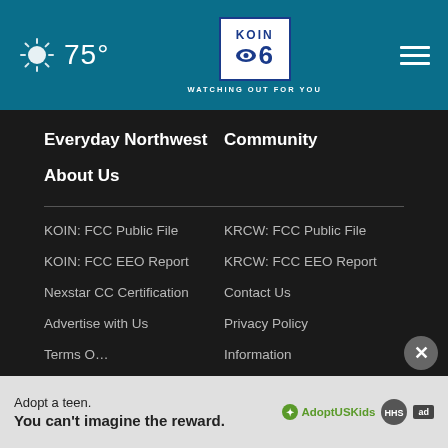75° KOIN 6 CBS — WATCHING OUT FOR YOU
Everyday Northwest
Community
About Us
KOIN: FCC Public File
KRCW: FCC Public File
KOIN: FCC EEO Report
KRCW: FCC EEO Report
Nexstar CC Certification
Contact Us
Advertise with Us
Privacy Policy
Terms Of…
Information
[Figure (infographic): Ad banner: Adopt a teen. You can't imagine the reward. AdoptUSKids logo with HHS and ad badge icons.]